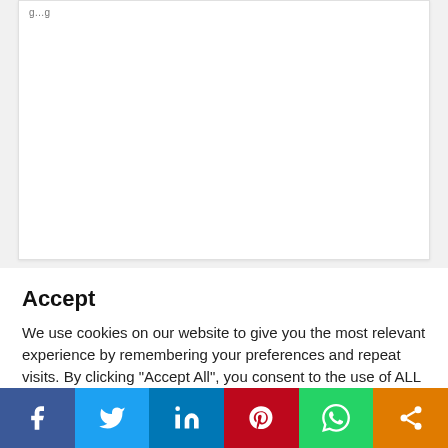[Figure (screenshot): Top portion of a webpage card, mostly blank white area with partial text visible at top left]
Accept
We use cookies on our website to give you the most relevant experience by remembering your preferences and repeat visits. By clicking "Accept All", you consent to the use of ALL the cookies. However, you may visit "Cookie Settings" to provide a controlled consent.
[Figure (screenshot): Two buttons: a grey Cookie Settings button and a green Accept All button]
[Figure (infographic): Social sharing bar with six icons: Facebook (blue), Twitter (light blue), LinkedIn (dark blue), Pinterest (red), WhatsApp (green), Share (orange)]